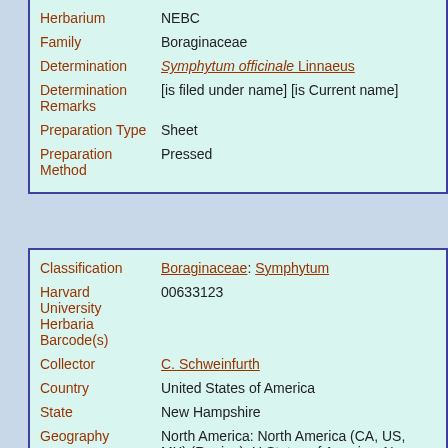| Herbarium | NEBC |
| Family | Boraginaceae |
| Determination | Symphytum officinale Linnaeus |
| Determination Remarks | [is filed under name] [is Current name] |
| Preparation Type | Sheet |
| Preparation Method | Pressed |
| Classification | Boraginaceae: Symphytum |
| Harvard University Herbaria Barcode(s) | 00633123 |
| Collector | C. Schweinfurth |
| Country | United States of America |
| State | New Hampshire |
| Geography | North America: North America (CA, US, MX) (Region): United States of America: New Hampshire: Sullivan County: Cornish |
| Locality | Cornish |